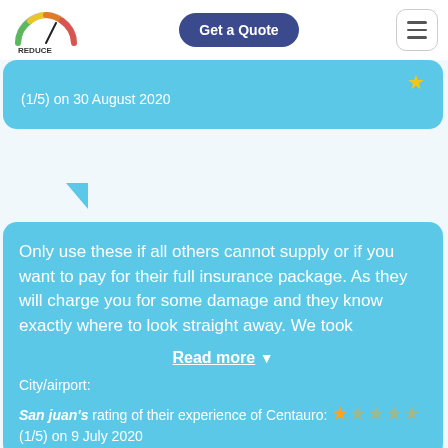[Figure (logo): Reduce My Excess logo with speedometer gauge in green/yellow/orange/red and text 'REDUCE my excess']
Get a Quote
(1/5) on 30 August 2020
Only use these if all others cannot supply or if you want to pay for their full insurance package. As they will charge you for some damage and they know exactly where to look straight away. We took
Read more
City/airport:
San juan's rating of their experience of Centauro: (1/5) on 9 July 2020